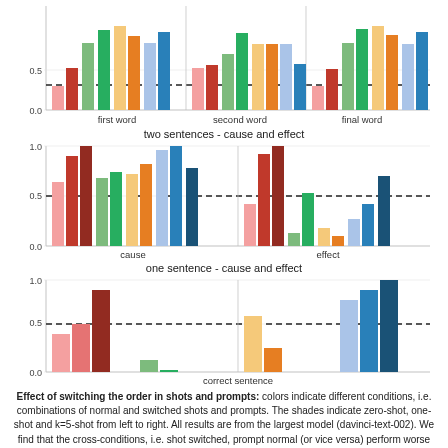[Figure (grouped-bar-chart): (top chart - first/second/final word)]
two sentences - cause and effect
[Figure (grouped-bar-chart): two sentences - cause and effect]
one sentence - cause and effect
[Figure (grouped-bar-chart): one sentence - cause and effect]
Effect of switching the order in shots and prompts: colors indicate different conditions, i.e. combinations of normal and switched shots and prompts. The shades indicate zero-shot, one-shot and k=5-shot from left to right. All results are from the largest model (davinci-text-002). We find that the cross-conditions, i.e. shot switched, prompt normal (or vice versa) perform worse than the unified conditions.